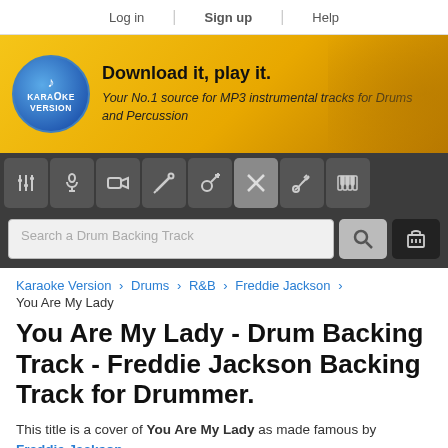Log in | Sign up | Help
[Figure (logo): Karaoke Version logo with blue oval and music note, with banner text: Download it, play it. Your No.1 source for MP3 instrumental tracks for Drums and Percussion]
[Figure (infographic): Navigation icon toolbar with 8 instrument icons: mixer, microphone, video camera, keyboard/piano, guitar, drums (crossed sticks), bass guitar, piano keys]
Search a Drum Backing Track
Karaoke Version > Drums > R&B > Freddie Jackson > You Are My Lady
You Are My Lady - Drum Backing Track - Freddie Jackson Backing Track for Drummer.
This title is a cover of You Are My Lady as made famous by Freddie Jackson